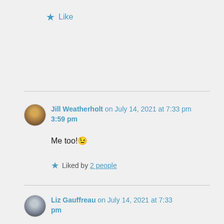★ Like
Jill Weatherholt on July 14, 2021 at 3:59 pm

Me too! 😉

★ Liked by 2 people
Liz Gauffreau on July 14, 2021 at 7:33 pm

😀

★ Liked by 1 person